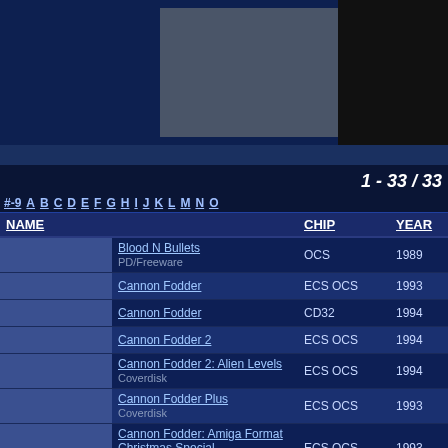[Figure (screenshot): Page header with dark blue background, center gray panel and black right panel]
1 - 33 / 33
| NAME | CHIP | YEAR |
| --- | --- | --- |
| Blood N Bullets
PD/Freeware | OCS | 1989 |
| Cannon Fodder | ECS OCS | 1993 |
| Cannon Fodder | CD32 | 1994 |
| Cannon Fodder 2 | ECS OCS | 1994 |
| Cannon Fodder 2: Alien Levels
Coverdisk | ECS OCS | 1994 |
| Cannon Fodder Plus
Coverdisk | ECS OCS | 1993 |
| Cannon Fodder: Amiga Format Christmas Special
Coverdisk | ECS OCS | 1993 |
| Cannon Soccer
Coverdisk | ECS OCS | 1993 |
| International 3D Tennis | ECS OCS | 1990 |
| International Sensible Soccer: World Champions | ECS OCS | 1994 |